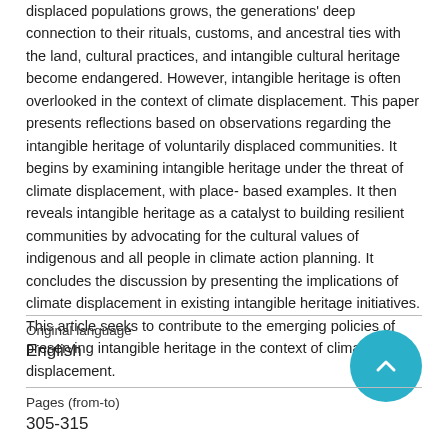displaced populations grows, the generations' deep connection to their rituals, customs, and ancestral ties with the land, cultural practices, and intangible cultural heritage become endangered. However, intangible heritage is often overlooked in the context of climate displacement. This paper presents reflections based on observations regarding the intangible heritage of voluntarily displaced communities. It begins by examining intangible heritage under the threat of climate displacement, with place-based examples. It then reveals intangible heritage as a catalyst to building resilient communities by advocating for the cultural values of indigenous and all people in climate action planning. It concludes the discussion by presenting the implications of climate displacement in existing intangible heritage initiatives. This article seeks to contribute to the emerging policies of preserving intangible heritage in the context of climate displacement.
Original language
English
Pages (from-to)
305-315